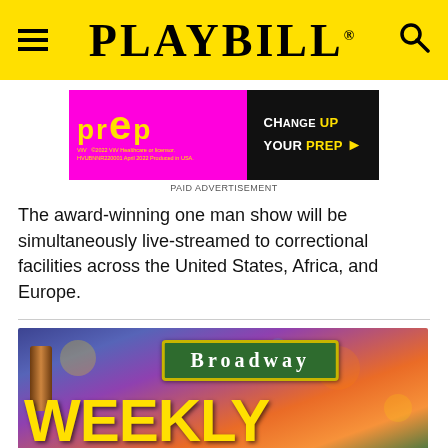PLAYBILL
[Figure (photo): PrEP advertisement banner - magenta and black background with 'CHANGE UP YOUR PrEP' text. ViiV Healthcare. ©2022 HVUBNNR220001 April 2022 Produced in USA.]
PAID ADVERTISEMENT
The award-winning one man show will be simultaneously live-streamed to correctional facilities across the United States, Africa, and Europe.
[Figure (photo): Broadway weekly schedule promotional image showing a green Broadway street sign above large yellow bold text reading 'WEEKLY SCHEDULE' on a blurred Times Square city background.]